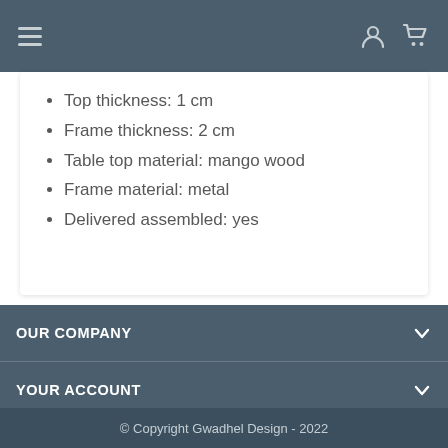Navigation bar with hamburger menu, user icon, and cart icon
Top thickness: 1 cm
Frame thickness: 2 cm
Table top material: mango wood
Frame material: metal
Delivered assembled: yes
OUR COMPANY
YOUR ACCOUNT
STORE INFORMATION
© Copyright Gwadhel Design - 2022